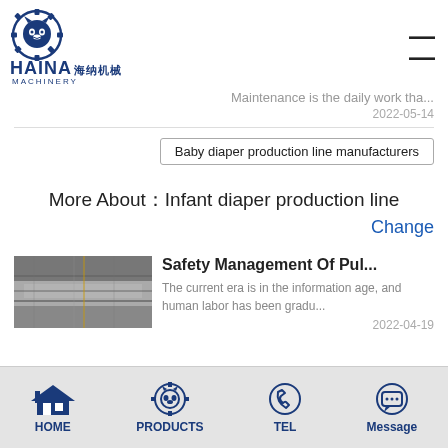[Figure (logo): HAINA Machinery logo with gear/lion icon and Chinese text 海纳机械]
Maintenance is the daily work tha...
2022-05-14
Baby diaper production line manufacturers
More About：Infant diaper production line
Change
[Figure (photo): Industrial machinery production line thumbnail image]
Safety Management Of Pul...
The current era is in the information age, and human labor has been gradu...
2022-04-19
HOME   PRODUCTS   TEL   Message